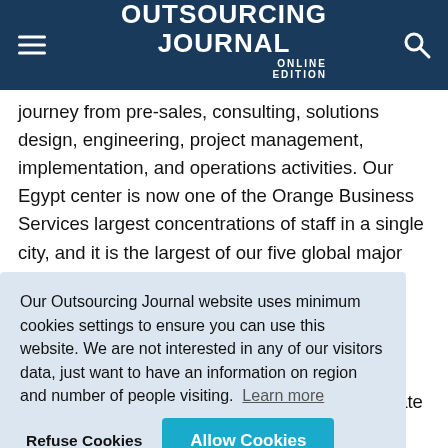OUTSOURCING JOURNAL ONLINE EDITION
journey from pre-sales, consulting, solutions design, engineering, project management, implementation, and operations activities. Our Egypt center is now one of the Orange Business Services largest concentrations of staff in a single city, and it is the largest of our five global major service
Our Outsourcing Journal website uses minimum cookies settings to ensure you can use this website. We are not interested in any of our visitors data, just want to have an information on region and number of people visiting. Learn more
second dedicated office building to accommodate the growth